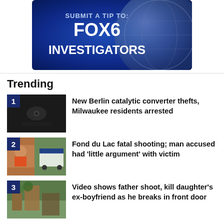[Figure (screenshot): FOX6 Investigators banner with text 'SUBMIT A TIP TO: FOX6 INVESTIGATORS' on a dark blue globe background]
Trending
[Figure (photo): Thumbnail image 1: dark security camera footage]
New Berlin catalytic converter thefts, Milwaukee residents arrested
[Figure (photo): Thumbnail image 2: mugshot of man and police car at scene]
Fond du Lac fatal shooting; man accused had 'little argument' with victim
[Figure (photo): Thumbnail image 3: video still of outdoor scene]
Video shows father shoot, kill daughter's ex-boyfriend as he breaks in front door